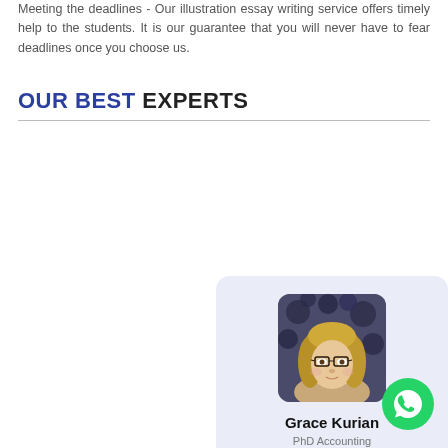Meeting the deadlines - Our illustration essay writing service offers timely help to the students. It is our guarantee that you will never have to fear deadlines once you choose us.
OUR BEST EXPERTS
[Figure (photo): Profile card for Grace Kurian, PhD Accounting expert, with a photo of a woman with glasses and blonde hair, on a light blue-gray background card, with a HIRE ME button.]
[Figure (logo): WhatsApp icon - green circle with white phone/chat icon]